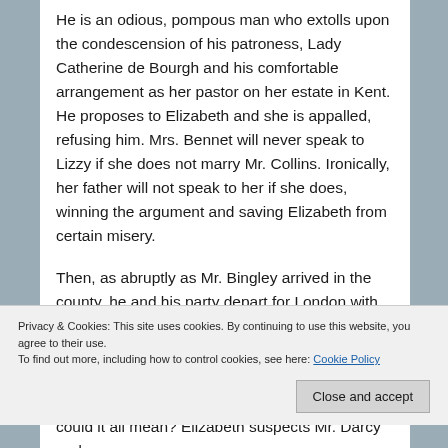He is an odious, pompous man who extolls upon the condescension of his patroness, Lady Catherine de Bourgh and his comfortable arrangement as her pastor on her estate in Kent. He proposes to Elizabeth and she is appalled, refusing him. Mrs. Bennet will never speak to Lizzy if she does not marry Mr. Collins. Ironically, her father will not speak to her if she does, winning the argument and saving Elizabeth from certain misery.

Then, as abruptly as Mr. Bingley arrived in the county, he and his party depart for London with no
Privacy & Cookies: This site uses cookies. By continuing to use this website, you agree to their use.
To find out more, including how to control cookies, see here: Cookie Policy
could it all mean? Elizabeth suspects Mr. Darcy and